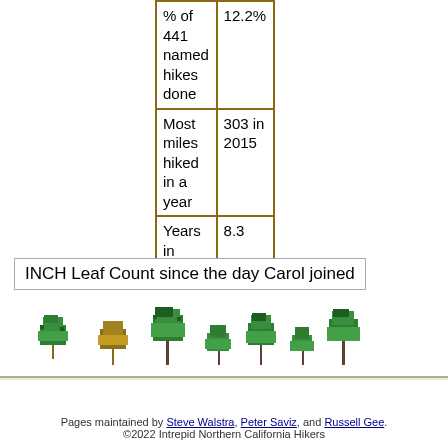| Metric | Value |
| --- | --- |
| % of 441 named hikes done | 12.2% |
| Most miles hiked in a year | 303 in 2015 |
| Years in INCH | 8.3 |
INCH Leaf Count since the day Carol joined
[Figure (illustration): Row of pixel-art green trees of varying sizes along a horizontal ground line]
Pages maintained by Steve Walstra, Peter Saviz, and Russell Gee. ©2022 Intrepid Northern California Hikers